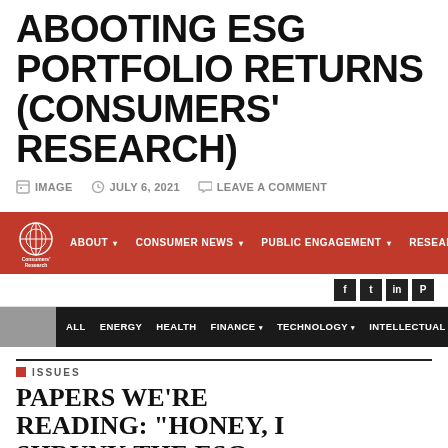ABOOTING ESG PORTFOLIO RETURNS (CONSUMERS' RESEARCH)
IMAGE  JULY 6, 2021  LEAVE A COMMENT
[Figure (screenshot): Consumers' Research website navigation bar with red background, logo, nav links (ABOUT, CONSUMER NEWS, PUBLIC ENGAGEMENT, RESEARCH), social media icons, and black sub-navigation bar (ALL, ENERGY, HEALTH, FINANCE, TECHNOLOGY, INTELLECTUAL PROPERTY)]
ISSUES
PAPERS WE'RE READING: "HONEY, I SHRUNK THE ESG